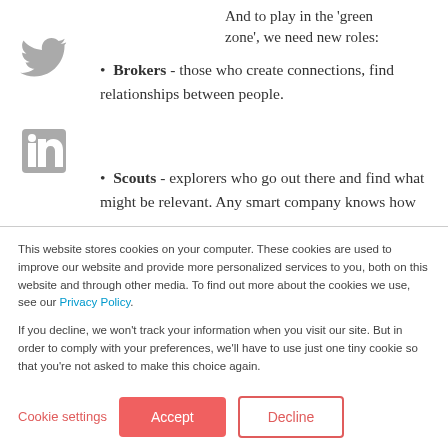And to play in the 'green zone', we need new roles:
Brokers - those who create connections, find relationships between people.
Scouts - explorers who go out there and find what might be relevant. Any smart company knows how
This website stores cookies on your computer. These cookies are used to improve our website and provide more personalized services to you, both on this website and through other media. To find out more about the cookies we use, see our Privacy Policy.
If you decline, we won't track your information when you visit our site. But in order to comply with your preferences, we'll have to use just one tiny cookie so that you're not asked to make this choice again.